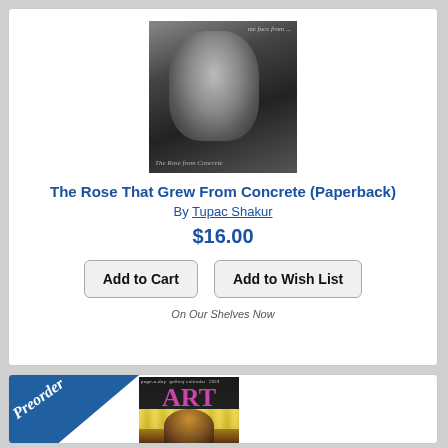[Figure (photo): Black and white photo of Tupac Shakur on book cover with cursive text at top and bottom]
The Rose That Grew From Concrete (Paperback)
By Tupac Shakur
$16.00
Add to Cart
Add to Wish List
On Our Shelves Now
[Figure (photo): Preorder ribbon banner over a 2023 Page-a-Day Gallery Calendar showing ART with flowers and figure]
Preorder